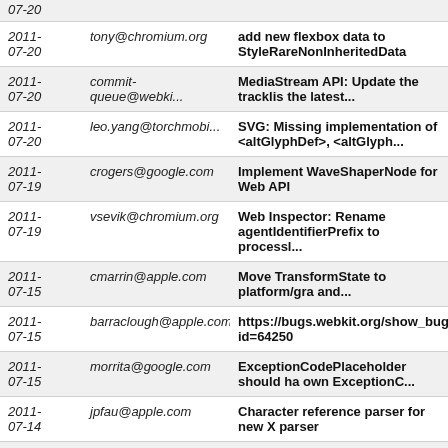| Date | Author | Message |
| --- | --- | --- |
| 2011-07-20 |  | 07-20 |
| 2011-07-20 | tony@chromium.org | add new flexbox data to StyleRareNonInheritedData |
| 2011-07-20 | commit-queue@webki... | MediaStream API: Update the tracklist the latest... |
| 2011-07-20 | leo.yang@torchmobi... | SVG: Missing implementation of <altGlyphDef>, <altGlyph... |
| 2011-07-19 | crogers@google.com | Implement WaveShaperNode for Web API |
| 2011-07-19 | vsevik@chromium.org | Web Inspector: Rename agentIdentifierPrefix to processl... |
| 2011-07-15 | cmarrin@apple.com | Move TransformState to platform/gra and... |
| 2011-07-15 | barraclough@apple.com | https://bugs.webkit.org/show_bug.cg id=64250 |
| 2011-07-15 | morrita@google.com | ExceptionCodePlaceholder should ha own ExceptionC... |
| 2011-07-14 | jpfau@apple.com | Character reference parser for new X parser |
| 2011-07-14 | vsevik@chromium.org | Move XML errors handling out from XMLDocumentParser... |